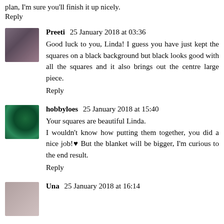plan, I'm sure you'll finish it up nicely.
Reply
Preeti 25 January 2018 at 03:36
Good luck to you, Linda! I guess you have just kept the squares on a black background but black looks good with all the squares and it also brings out the centre large piece.
Reply
hobbyloes 25 January 2018 at 15:40
Your squares are beautiful Linda.
I wouldn't know how putting them together, you did a nice job!♥ But the blanket will be bigger, I'm curious to the end result.
Reply
Una 25 January 2018 at 16:14